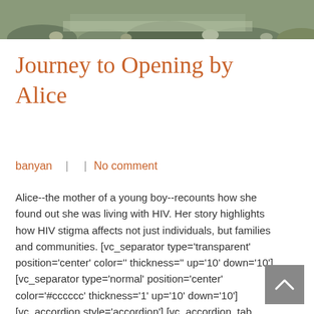[Figure (photo): Partial landscape/nature photo showing rocks and water, cropped at top of page]
Journey to Opening by Alice
banyan  |    |  No comment
Alice--the mother of a young boy--recounts how she found out she was living with HIV. Her story highlights how HIV stigma affects not just individuals, but families and communities. [vc_separator type='transparent' position='center' color='' thickness='' up='10' down='10'] [vc_separator type='normal' position='center' color='#cccccc' thickness='1' up='10' down='10'] [vc_accordion style='accordion'] [vc_accordion_tab title='What does this video tell us about stigma?'icon_||icon_color_||]How would you